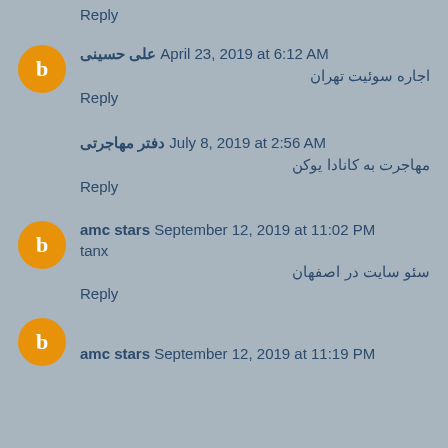Reply
علی حسینی  April 23, 2019 at 6:12 AM
اجاره سوئیت تهران
Reply
دفتر مهاجرتی  July 8, 2019 at 2:56 AM
مهاجرت به کانادا یوکن
Reply
amc stars  September 12, 2019 at 11:02 PM
tanx
سئو سایت در اصفهان
Reply
amc stars  September 12, 2019 at 11:19 PM